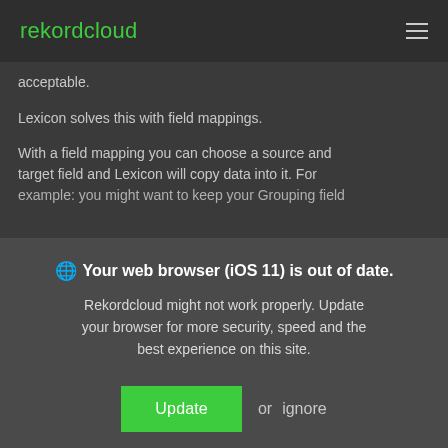rekordcloud
acceptable.
Lexicon solves this with field mappings.
With a field mapping you can choose a source and target field and Lexicon will copy data into it. For example: you might want to keep your Grouping field
🌐 Your web browser (iOS 11) is out of date. Rekordcloud might not work properly. Update your browser for more security, speed and the best experience on this site.
Update or ignore